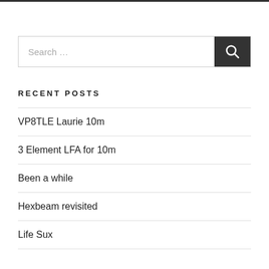[Figure (other): Search bar with text input field 'Search …' and a dark search button with magnifying glass icon]
RECENT POSTS
VP8TLE Laurie 10m
3 Element LFA for 10m
Been a while
Hexbeam revisited
Life Sux